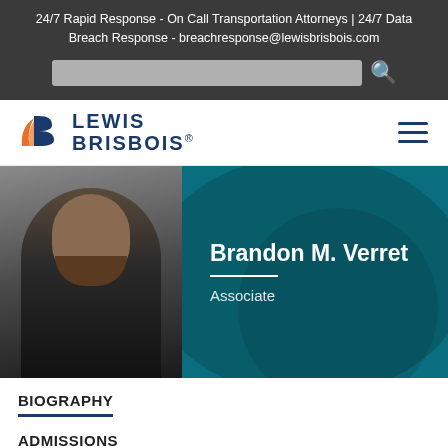24/7 Rapid Response - On Call Transportation Attorneys | 24/7 Data Breach Response - breachresponse@lewisbrisbois.com
[Figure (logo): Lewis Brisbois law firm logo with orange and blue stylized 'B' icon and text 'LEWIS BRISBOIS.']
[Figure (photo): Professional headshot of Brandon M. Verret, a man with a beard wearing a dark suit and striped tie, alongside a teal background with handshake imagery]
Brandon M. Verret
Associate
BIOGRAPHY
ADMISSIONS
ASSOCIATIONS